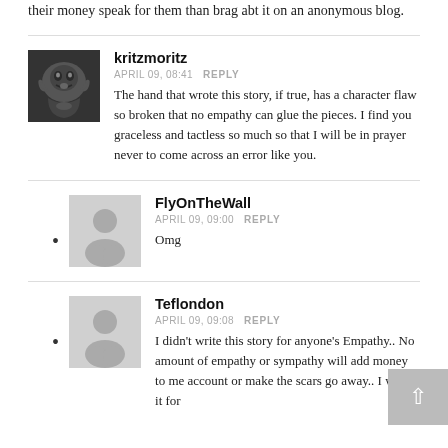their money speak for them than brag abt it on an anonymous blog.
kritzmoritz
APRIL 09, 08:41 REPLY
The hand that wrote this story, if true, has a character flaw so broken that no empathy can glue the pieces. I find you graceless and tactless so much so that I will be in prayer never to come across an error like you.
FlyOnTheWall
APRIL 09, 09:00 REPLY
Omg
Teflondon
APRIL 09, 09:08 REPLY
I didn't write this story for anyone's Empathy.. No amount of empathy or sympathy will add money to me account or make the scars go away.. I wrote it for